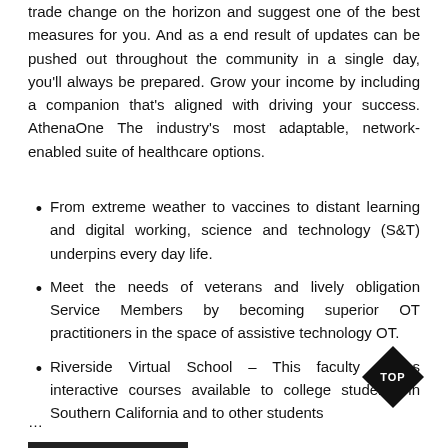trade change on the horizon and suggest one of the best measures for you. And as a end result of updates can be pushed out throughout the community in a single day, you'll always be prepared. Grow your income by including a companion that's aligned with driving your success. AthenaOne The industry's most adaptable, network-enabled suite of healthcare options.
From extreme weather to vaccines to distant learning and digital working, science and technology (S&T) underpins every day life.
Meet the needs of veterans and lively obligation Service Members by becoming superior OT practitioners in the space of assistive technology OT.
Riverside Virtual School – This faculty makes interactive courses available to college students in Southern California and to other students